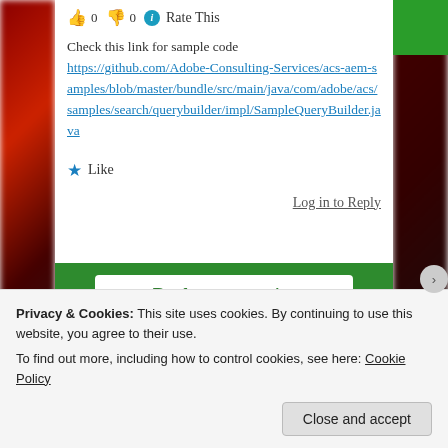👍 0 👎 0 ℹ Rate This
Check this link for sample code https://github.com/Adobe-Consulting-Services/acs-aem-samples/blob/master/bundle/src/main/java/com/adobe/acs/samples/search/querybuilder/impl/SampleQueryBuilder.java
★ Like
Log in to Reply
Back up your site
Privacy & Cookies: This site uses cookies. By continuing to use this website, you agree to their use.
To find out more, including how to control cookies, see here: Cookie Policy
Close and accept